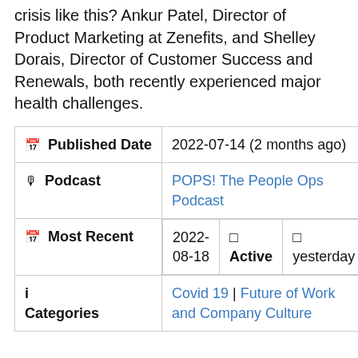crisis like this? Ankur Patel, Director of Product Marketing at Zenefits, and Shelley Dorais, Director of Customer Success and Renewals, both recently experienced major health challenges.
| Field | Value |
| --- | --- |
| 🗓 Published Date | 2022-07-14 (2 months ago) |
| 🎙 Podcast | POPS! The People Ops Podcast |
| 🗓 Most Recent | 2022-08-18 | 🟢 Active | 🕐 yesterday |
| ℹ Categories | Covid 19 | Future of Work and Company Culture |